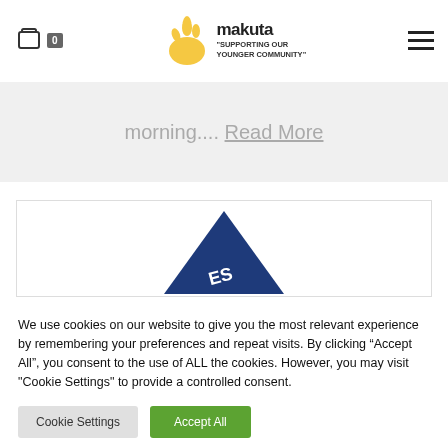[Figure (logo): Makuta logo with hand emoji and tagline 'Supporting Our Younger Community']
morning.... Read More
[Figure (illustration): Blue triangle logo partially visible, text 'ES' visible on it]
We use cookies on our website to give you the most relevant experience by remembering your preferences and repeat visits. By clicking “Accept All”, you consent to the use of ALL the cookies. However, you may visit "Cookie Settings" to provide a controlled consent.
Cookie Settings
Accept All